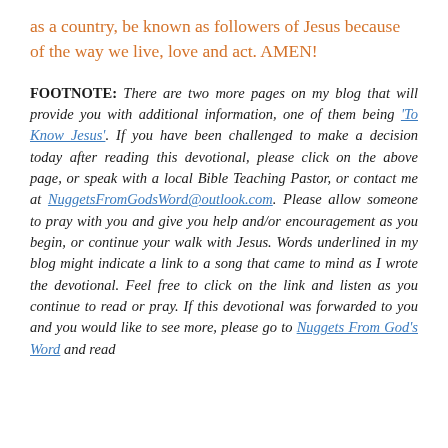as a country, be known as followers of Jesus because of the way we live, love and act. AMEN!
FOOTNOTE: There are two more pages on my blog that will provide you with additional information, one of them being 'To Know Jesus'. If you have been challenged to make a decision today after reading this devotional, please click on the above page, or speak with a local Bible Teaching Pastor, or contact me at NuggetsFromGodsWord@outlook.com. Please allow someone to pray with you and give you help and/or encouragement as you begin, or continue your walk with Jesus. Words underlined in my blog might indicate a link to a song that came to mind as I wrote the devotional. Feel free to click on the link and listen as you continue to read or pray. If this devotional was forwarded to you and you would like to see more, please go to Nuggets From God's Word and read